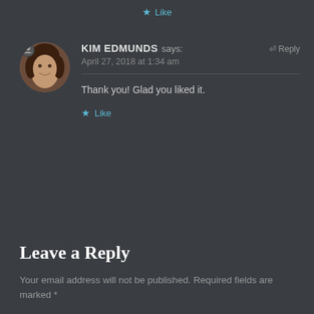Like
KIM EDMUNDS says: April 27, 2018 at 1:34 am
Thank you! Glad you liked it.
Like
Leave a Reply
Your email address will not be published. Required fields are marked *